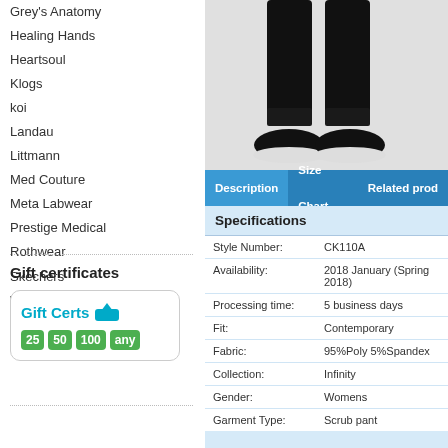Grey's Anatomy
Healing Hands
Heartsoul
Klogs
koi
Landau
Littmann
Med Couture
Meta Labwear
Prestige Medical
Rothwear
Skechers
WonderWink
Gift certificates
[Figure (logo): Gift Certs logo with denominations $25, $50, $100, any]
[Figure (photo): Product photo showing legs wearing black scrub pants and black slip-on shoes with white soles]
Description | Size Chart | Related products
| Specifications |  |
| --- | --- |
| Style Number: | CK110A |
| Availability: | 2018 January (Spring 2018) |
| Processing time: | 5 business days |
| Fit: | Contemporary |
| Fabric: | 95%Poly 5%Spandex |
| Collection: | Infinity |
| Gender: | Womens |
| Garment Type: | Scrub pant |